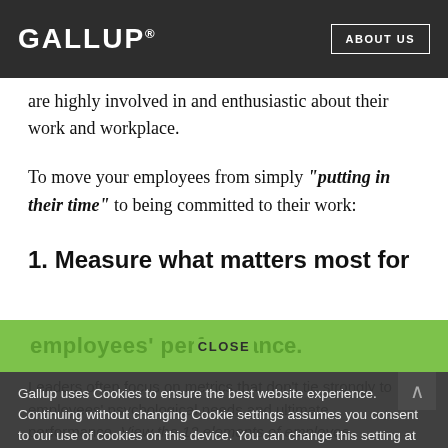GALLUP | ABOUT US
are highly involved in and enthusiastic about their work and workplace.
To move your employees from simply "putting in their time" to being committed to their work:
1. Measure what matters most for employees' performance.
Leaders often focus on metrics that don't tie strongly to employees' psychological needs and ultimate performance. View the 12 elements of employee engagement that predict high team performance.
Gallup uses Cookies to ensure the best website experience. Continuing without changing Cookie settings assumes you consent to our use of cookies on this device. You can change this setting at any time, but that may impair functionality on our websites.
Privacy Statement   Site Terms of Use and Sale